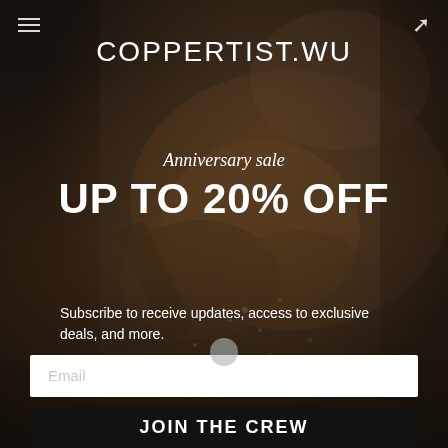[Figure (photo): Dark background photograph of a metalworking/coppersmithing scene showing hands hammering metal with sparks and dust flying, workshop tools visible]
COPPERTIST.WU
Anniversary sale
UP TO 20% OFF
Subscribe to receive updates, access to exclusive deals, and more.
Email
JOIN THE CREW